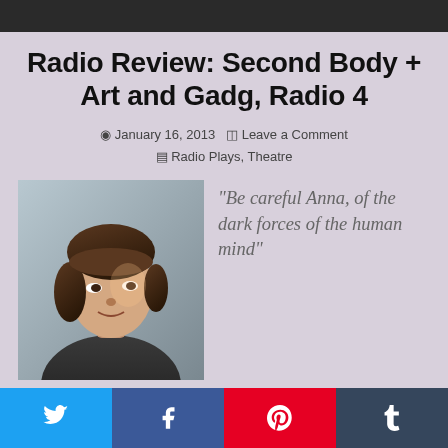[Figure (photo): Dark background photo strip at top of page]
Radio Review: Second Body + Art and Gadg, Radio 4
January 16, 2013  Leave a Comment  Radio Plays, Theatre
[Figure (photo): Photo of Tara Fitzgerald, a woman with a bob haircut looking to the side]
“Be careful Anna, of the dark forces of the human mind”
I knew I liked Tara Fitzgerald’s voice, but I hadn’t realised I loved it. Listening to the radio play Second Body that featured her in a starring role was a genuine auditory pleasure which made me want to track